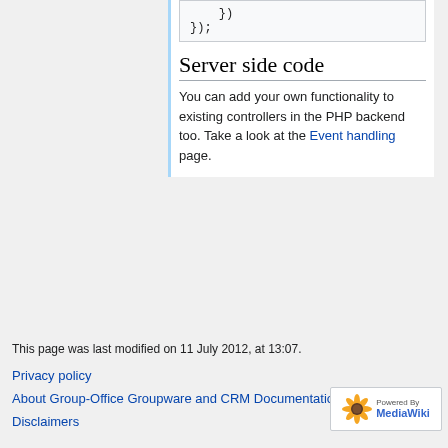})
});
Server side code
You can add your own functionality to existing controllers in the PHP backend too. Take a look at the Event handling page.
This page was last modified on 11 July 2012, at 13:07.
Privacy policy
About Group-Office Groupware and CRM Documentation
Disclaimers